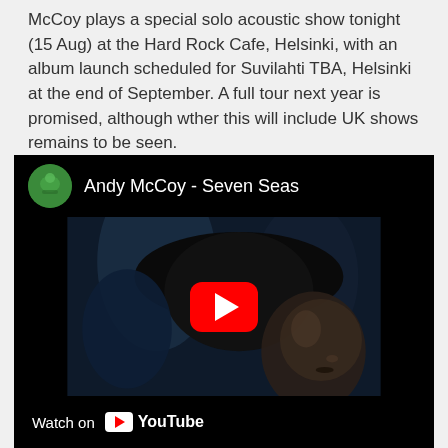McCoy plays a special solo acoustic show tonight (15 Aug) at the Hard Rock Cafe, Helsinki, with an album launch scheduled for Suvilahti TBA, Helsinki at the end of September. A full tour next year is promised, although wther this will include UK shows remains to be seen.
[Figure (screenshot): Embedded YouTube video player showing 'Andy McCoy - Seven Seas'. The video thumbnail shows a dark moody image of a man wearing a large hat. The player has a red play button in the center, a channel avatar and title at the top, and a 'Watch on YouTube' bar at the bottom.]